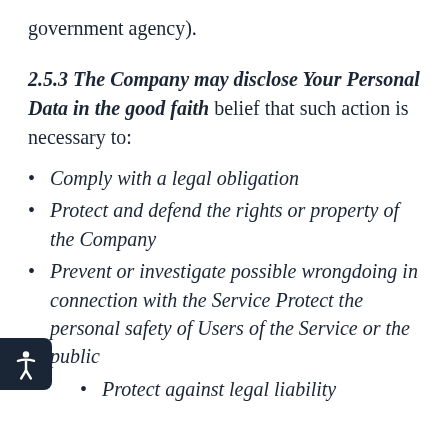government agency).
2.5.3 The Company may disclose Your Personal Data in the good faith belief that such action is necessary to:
Comply with a legal obligation
Protect and defend the rights or property of the Company
Prevent or investigate possible wrongdoing in connection with the Service Protect the personal safety of Users of the Service or the public
Protect against legal liability